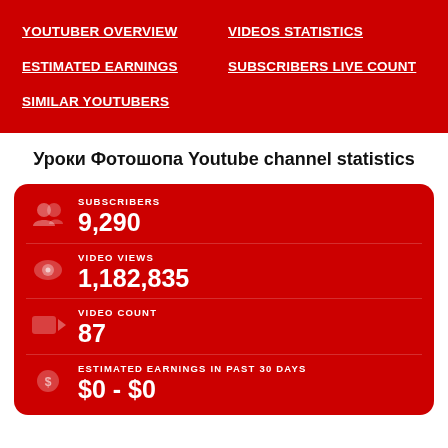YOUTUBER OVERVIEW
VIDEOS STATISTICS
ESTIMATED EARNINGS
SUBSCRIBERS LIVE COUNT
SIMILAR YOUTUBERS
Уроки Фотошопа Youtube channel statistics
| Metric | Value |
| --- | --- |
| SUBSCRIBERS | 9,290 |
| VIDEO VIEWS | 1,182,835 |
| VIDEO COUNT | 87 |
| ESTIMATED EARNINGS IN PAST 30 DAYS | $0 - $0 |